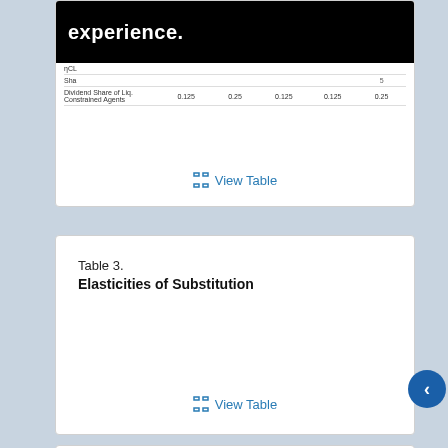[Figure (table-as-image): Partial table image showing rows with nCL, Sha, and Dividend Share of Liq. Constrained Agents with values 0.125, 0.25, 0.125, 0.125, 0.25. Top portion shows 'experience.' text on black banner.]
View Table
Table 3.
Elasticities of Substitution
View Table